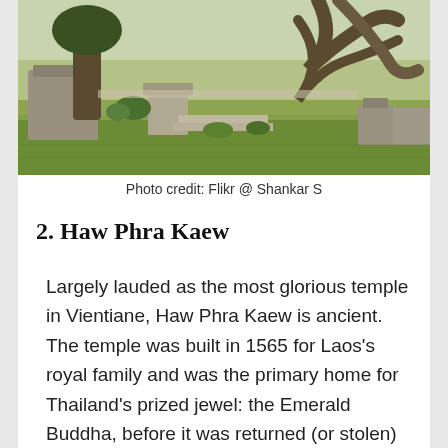[Figure (photo): Outdoor photo of an ancient temple complex in Vientiane with stone statues, ruins, ancient trees with large twisted branches, and green grass in the foreground.]
Photo credit: Flikr @ Shankar S
2. Haw Phra Kaew
Largely lauded as the most glorious temple in Vientiane, Haw Phra Kaew is ancient. The temple was built in 1565 for Laos’s royal family and was the primary home for Thailand’s prized jewel: the Emerald Buddha, before it was returned (or stolen) to the Kingdom in the 1700s.